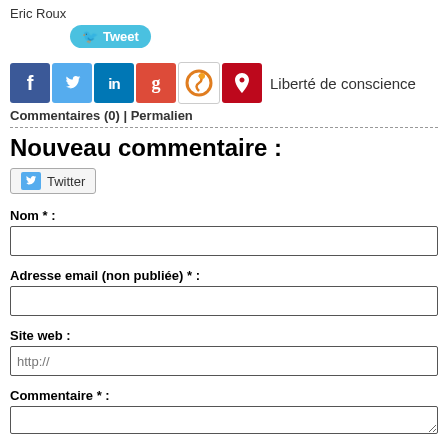Eric Roux
[Figure (other): Tweet button (blue rounded, Twitter bird icon)]
[Figure (other): Social media icons: Facebook, Twitter, LinkedIn, Google+, Scoop.it, Pinterest; tag label: Liberté de conscience]
Commentaires (0) | Permalien
Nouveau commentaire :
[Figure (other): Twitter login button]
Nom * :
Adresse email (non publiée) * :
Site web :
Commentaire * :